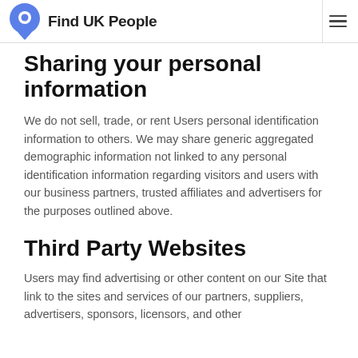Find UK People
Sharing your personal information
We do not sell, trade, or rent Users personal identification information to others. We may share generic aggregated demographic information not linked to any personal identification information regarding visitors and users with our business partners, trusted affiliates and advertisers for the purposes outlined above.
Third Party Websites
Users may find advertising or other content on our Site that link to the sites and services of our partners, suppliers, advertisers, sponsors, licensors, and other